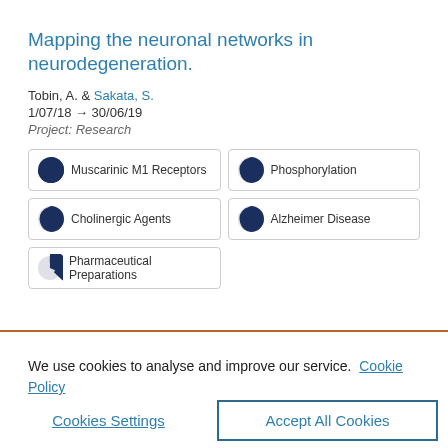Mapping the neuronal networks in neurodegeneration.
Tobin, A. & Sakata, S.
1/07/18 → 30/06/19
Project: Research
Muscarinic M1 Receptors
Phosphorylation
Cholinergic Agents
Alzheimer Disease
Pharmaceutical Preparations
We use cookies to analyse and improve our service. Cookie Policy
Cookies Settings
Accept All Cookies